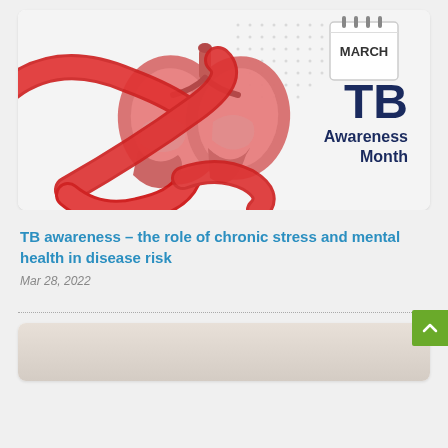[Figure (illustration): TB Awareness Month promotional image: 3D red lungs wrapped in a red ribbon, with a calendar showing MARCH and large text reading 'TB Awareness Month' on a white/grey dotted background]
TB awareness – the role of chronic stress and mental health in disease risk
Mar 28, 2022
[Figure (photo): Partial view of another article's image, showing a light beige/neutral colored photo, partially visible at the bottom of the page]